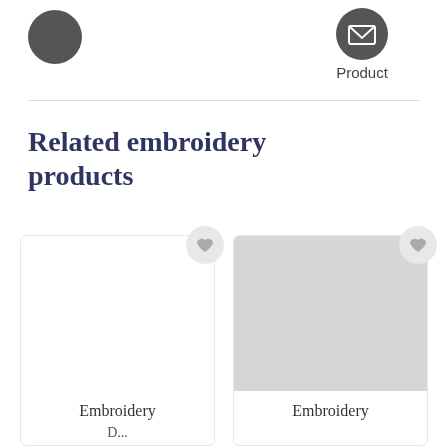[Figure (infographic): Partial view of two circular icon buttons at the top of the page — a dark icon on the left (partially cropped) and a dark envelope/message icon on the right with 'Product' label beneath it]
Product
Related embroidery products
[Figure (infographic): Product card with white background, grey heart button in top-right corner, and text 'Embroidery' visible at the bottom]
Embroidery
[Figure (infographic): Product card with grey background image placeholder, grey heart button in top-right corner, and text 'Embroidery' visible at the bottom]
Embroidery